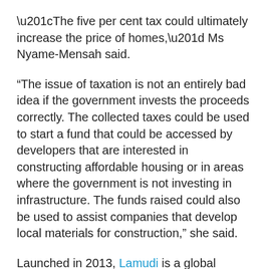“The five per cent tax could ultimately increase the price of homes,” Ms Nyame-Mensah said.
“The issue of taxation is not an entirely bad idea if the government invests the proceeds correctly. The collected taxes could be used to start a fund that could be accessed by developers that are interested in constructing affordable housing or in areas where the government is not investing in infrastructure. The funds raised could also be used to assist companies that develop local materials for construction,” she said.
Launched in 2013, Lamudi is a global property portal focusing exclusively on emerging markets.